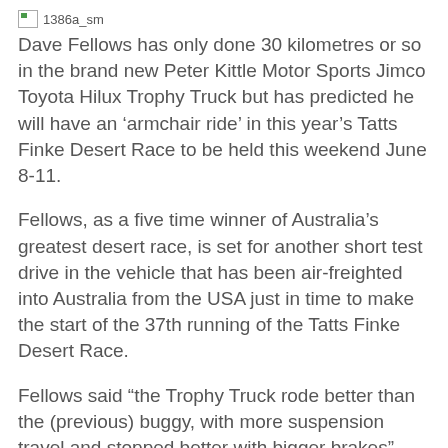[Figure (other): Small thumbnail image placeholder labeled '1386a_sm']
Dave Fellows has only done 30 kilometres or so in the brand new Peter Kittle Motor Sports Jimco Toyota Hilux Trophy Truck but has predicted he will have an ‘armchair ride’ in this year’s Tatts Finke Desert Race to be held this weekend June 8-11.
Fellows, as a five time winner of Australia’s greatest desert race, is set for another short test drive in the vehicle that has been air-freighted into Australia from the USA just in time to make the start of the 37th running of the Tatts Finke Desert Race.
Fellows said “the Trophy Truck rode better than the (previous) buggy, with more suspension travel and stopped better with bigger brakes”.
He also reported that the difference in terms of driving the